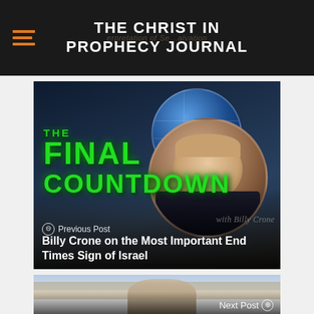THE CHRIST IN PROPHECY JOURNAL
[Figure (screenshot): The Final Countdown TV show screenshot with presenter in circular frame, city skyline background, green neon text reading THE FINAL COUNTDOWN with watermark 'with Billy Crone']
Previous Post
Billy Crone on the Most Important End Times Sign of Israel
[Figure (photo): Two people (a couple) standing outdoors with Jerusalem cityscape in background, the man wearing a blue cap]
Next Post